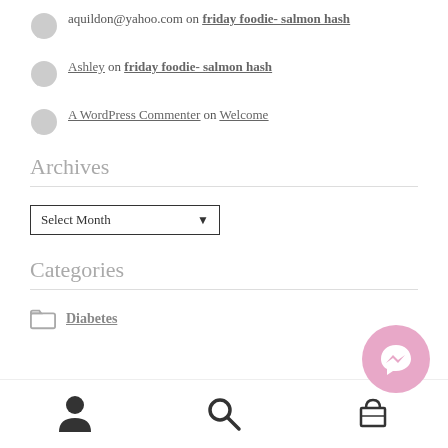aquildon@yahoo.com on friday foodie- salmon hash
Ashley on friday foodie- salmon hash
A WordPress Commenter on Welcome
Archives
Select Month
Categories
Diabetes